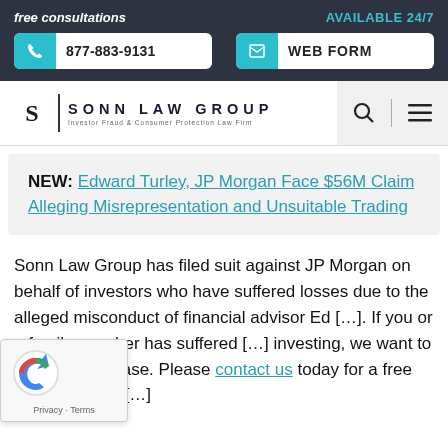free consultations | AVAILABLE 24/7 | 877-883-9131 | WEB FORM
[Figure (logo): Sonn Law Group logo — S monogram with 'SONN LAW GROUP' and subtitle 'Investor Fraud & Consumer Protection Law Firm']
NEW: Edward Turley, JP Morgan Face $56M Claim Alleging Misrepresentation and Unsuitable Trading
Sonn Law Group has filed suit against JP Morgan on behalf of investors who have suffered losses due to the alleged misconduct of financial advisor Ed [Turley]. If you or a family member has suffered [losses from] investing, we want to discuss your case. Please contact us today for a free review of your [case].